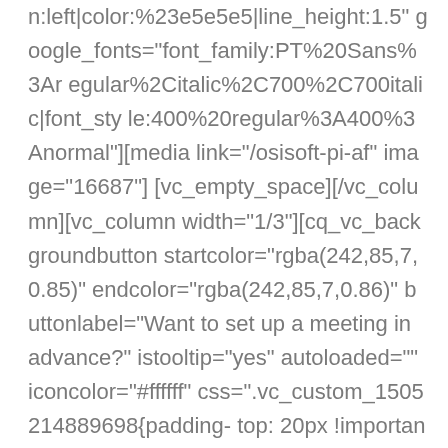n:left|color:%23e5e5e5|line_height:1.5" google_fonts="font_family:PT%20Sans%3Aregular%2Citalic%2C700%2C700italic|font_style:400%20regular%3A400%3Anormal"][medialink="/osisoft-pi-af" image="16687"][vc_empty_space][/vc_column][vc_column width="1/3"][cq_vc_backgroundbutton startcolor="rgba(242,85,7,0.85)" endcolor="rgba(242,85,7,0.86)" buttonlabel="Want to set up a meeting in advance?" istooltip="yes" autoloaded="" iconcolor="#ffffff" css=".vc_custom_1505214889698{padding-top: 20px !important;padding-right: 20px !important;padding-bottom: 20px !important;padding-left: 20px